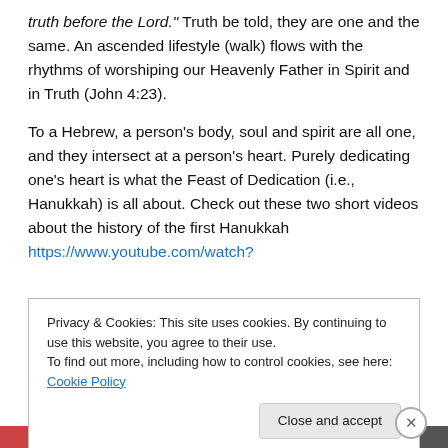truth before the Lord." Truth be told, they are one and the same. An ascended lifestyle (walk) flows with the rhythms of worshiping our Heavenly Father in Spirit and in Truth (John 4:23).
To a Hebrew, a person's body, soul and spirit are all one, and they intersect at a person's heart. Purely dedicating one's heart is what the Feast of Dedication (i.e., Hanukkah) is all about. Check out these two short videos about the history of the first Hanukkah https://www.youtube.com/watch?
Privacy & Cookies: This site uses cookies. By continuing to use this website, you agree to their use.
To find out more, including how to control cookies, see here: Cookie Policy
Close and accept
Advertisements